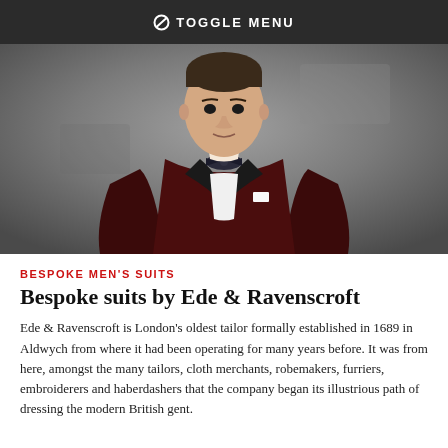TOGGLE MENU
[Figure (photo): Man wearing a dark burgundy/maroon velvet dinner jacket with black bow tie and white dress shirt, photographed against a grey background]
BESPOKE MEN'S SUITS
Bespoke suits by Ede & Ravenscroft
Ede & Ravenscroft is London's oldest tailor formally established in 1689 in Aldwych from where it had been operating for many years before. It was from here, amongst the many tailors, cloth merchants, robemakers, furriers, embroiderers and haberdashers that the company began its illustrious path of dressing the modern British gent.